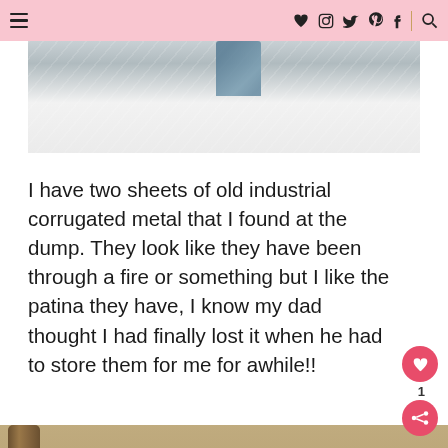Navigation header with hamburger menu and social icons (heart, instagram, twitter, pinterest, facebook, search)
[Figure (photo): Close-up of white furry/fluffy textile surface with a blue-gray object partially visible at top center]
I have two sheets of old industrial corrugated metal that I found at the dump. They look like they have been through a fire or something but I like the patina they have, I know my dad thought I had finally lost it when he had to store them for me for awhile!!
[Figure (photo): Outdoor scene showing a large tree trunk on the left, a wooden fence in the background, snow on ground, and metal corrugated sheets/rods on a table or surface in the foreground. A 'What's Next' overlay shows DIY Sweater Heart Garland.]